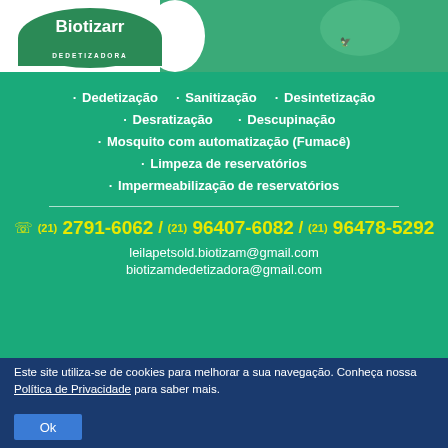[Figure (logo): Biotizam Dedetizadora logo with green curved shape and bird photo on teal background]
· Dedetização   · Sanitização   · Desintetização
· Desratização   · Descupinação
· Mosquito com automatização (Fumacê)
· Limpeza de reservatórios
· Impermeabilização de reservatórios
(21) 2791-6062 / (21) 96407-6082 / (21) 96478-5292
leilapetsold.biotizam@gmail.com
biotizamdedetizadora@gmail.com
Este site utiliza-se de cookies para melhorar a sua navegação. Conheça nossa Política de Privacidade para saber mais.
Ok